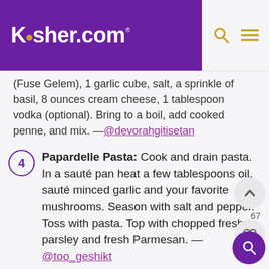Kosher.com
(Fuse Gelem), 1 garlic cube, salt, a sprinkle of basil, 8 ounces cream cheese, 1 tablespoon vodka (optional). Bring to a boil, add cooked penne, and mix. —@devorahgitisetan
4 Papardelle Pasta: Cook and drain pasta. In a sauté pan heat a few tablespoons oil, sauté minced garlic and your favorite mushrooms. Season with salt and pepper. Toss with pasta. Top with chopped fresh parsley and fresh Parmesan. —@too_geshikt
5 Baked Ravioli: Bake frozen ravioli straight from the bag with sauce and mozzarella covered, at 350, for 40 minutes, and uncovered for 15. —@ssutton65